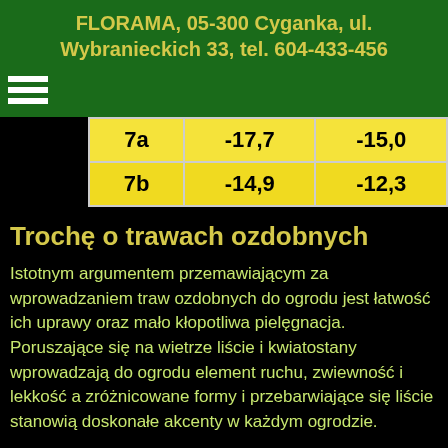FLORAMA, 05-300 Cyganka, ul. Wybranieckich 33, tel. 604-433-456
| 7a | -17,7 | -15,0 |
| 7b | -14,9 | -12,3 |
Trochę o trawach ozdobnych
Istotnym argumentem przemawiającym za wprowadzaniem traw ozdobnych do ogrodu jest łatwość ich uprawy oraz mało kłopotliwa pielęgnacja. Poruszające się na wietrze liście i kwiatostany wprowadzają do ogrodu element ruchu, zwiewność i lekkość a zróżnicowane formy i przebarwiające się liście stanowią doskonałe akcenty w każdym ogrodzie.
Trawy ozdobne mogą i powinny być stosowane w coraz większym stopniu między krzewami, bylinami czy